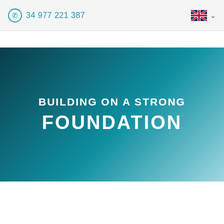34 977 221 387
[Figure (other): Hero banner with dark teal to light teal gradient background containing the text 'BUILDING ON A STRONG FOUNDATION' in white bold uppercase letters]
BUILDING ON A STRONG FOUNDATION